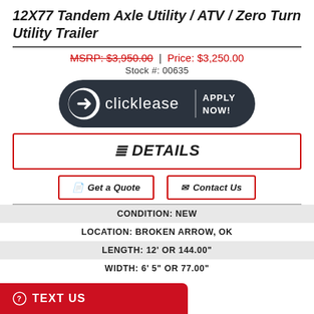12X77 Tandem Axle Utility / ATV / Zero Turn Utility Trailer
MSRP: $3,950.00 | Price: $3,250.00
Stock #: 00635
[Figure (logo): Clicklease logo banner with 'APPLY NOW!' call to action on dark background]
≔ DETAILS
Get a Quote
Contact Us
CONDITION: NEW
LOCATION: BROKEN ARROW, OK
LENGTH: 12' OR 144.00"
WIDTH: 6' 5" OR 77.00"
TEXT US